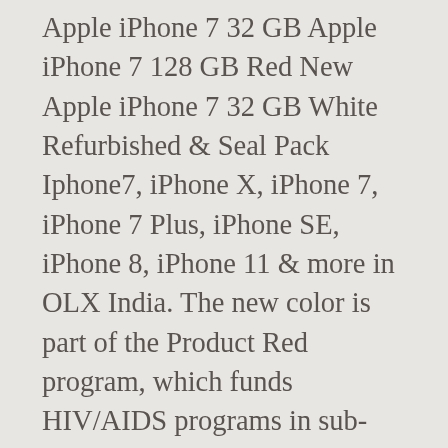Apple iPhone 7 32 GB Apple iPhone 7 128 GB Red New Apple iPhone 7 32 GB White Refurbished & Seal Pack Iphone7, iPhone X, iPhone 7, iPhone 7 Plus, iPhone SE, iPhone 8, iPhone 11 & more in OLX India. The new color is part of the Product Red program, which funds HIV/AIDS programs in sub-Saharan Africa. It introduces advanced new camera systems. Product Title Apple iPhone 7 Plus 256GB Red Fully Unlocked (Verizon + AT&T + T-Mobile + Sprint) Smartphone - Grade B Refurbished. Get notified when new items are posted. 4.5 out of 5 stars (77) 77 product ratings - Apple iPhone 7 Red Smartphone AT&T Sprint T-Mobile Verizon or Unlocked 4G